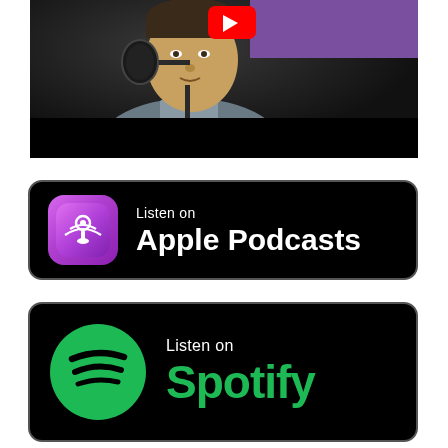[Figure (photo): A person sitting in front of a microphone in a podcast/YouTube studio setup. Red YouTube play button badge visible in upper center, purple rectangle overlay in upper right. Black bars at bottom of frame.]
[Figure (logo): Listen on Apple Podcasts badge — black rounded rectangle with purple podcast icon on left and white text 'Listen on Apple Podcasts' on right.]
[Figure (logo): Listen on Spotify badge — black rounded rectangle with green Spotify logo on left and text 'Listen on Spotify' on right, 'Spotify' in green.]